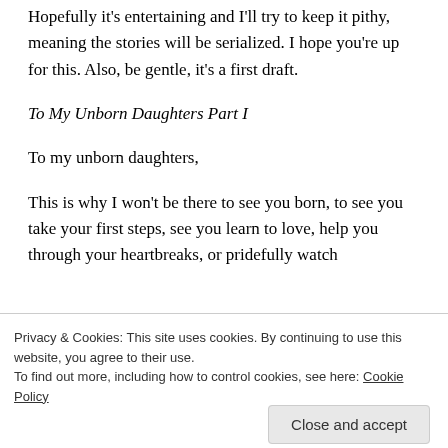Hopefully it's entertaining and I'll try to keep it pithy, meaning the stories will be serialized. I hope you're up for this. Also, be gentle, it's a first draft.
To My Unborn Daughters Part I
To my unborn daughters,
This is why I won't be there to see you born, to see you take your first steps, see you learn to love, help you through your heartbreaks, or pridefully watch
Privacy & Cookies: This site uses cookies. By continuing to use this website, you agree to their use.
To find out more, including how to control cookies, see here: Cookie Policy
Close and accept